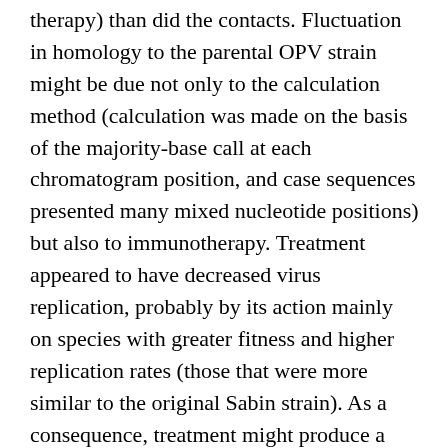therapy) than did the contacts. Fluctuation in homology to the parental OPV strain might be due not only to the calculation method (calculation was made on the basis of the majority-base call at each chromatogram position, and case sequences presented many mixed nucleotide positions) but also to immunotherapy. Treatment appeared to have decreased virus replication, probably by its action mainly on species with greater fitness and higher replication rates (those that were more similar to the original Sabin strain). As a consequence, treatment might produce a bottleneck that unmasked more divergent species. Both the case and contact strains had intertypic Sabin 1/Sabin 2 recombination in nonstructural genes and also shared most of the nucleotide and amino acid substitutions. However, pathologic changes occurred only in the patient